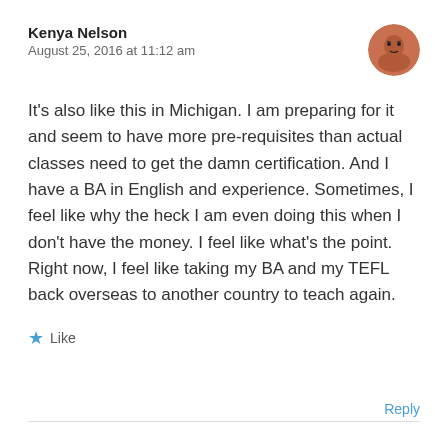Kenya Nelson
August 25, 2016 at 11:12 am
[Figure (photo): Round avatar photo of a person with reddish-brown skin tone]
It's also like this in Michigan. I am preparing for it and seem to have more pre-requisites than actual classes need to get the damn certification. And I have a BA in English and experience. Sometimes, I feel like why the heck I am even doing this when I don't have the money. I feel like what's the point. Right now, I feel like taking my BA and my TEFL back overseas to another country to teach again.
★ Like
Reply